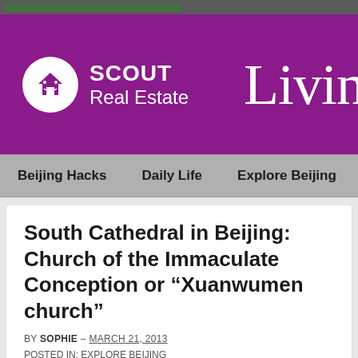[Figure (logo): Scout Real Estate logo with white circle containing a house icon, white text reading SCOUT Real Estate on purple background, with 'Livin' text partially visible on right]
Beijing Hacks   Daily Life   Explore Beijing   Education
South Cathedral in Beijing: Church of the Immaculate Conception or “Xuanwumen church”
BY SOPHIE – MARCH 21, 2013
POSTED IN: EXPLORE BEIJING
[Figure (photo): Article image placeholder area]